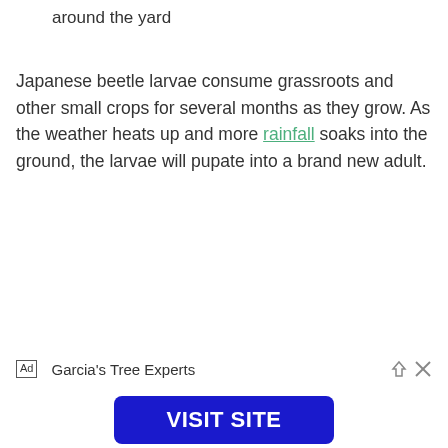around the yard
Japanese beetle larvae consume grassroots and other small crops for several months as they grow. As the weather heats up and more rainfall soaks into the ground, the larvae will pupate into a brand new adult.
Ad   Garcia's Tree Experts
VISIT SITE